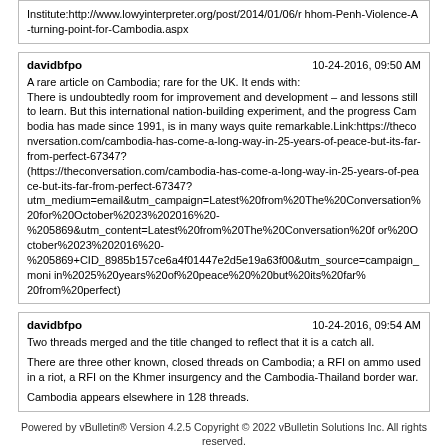Institute:http://www.lowyinterpreter.org/post/2014/01/06/r Phom-Penh-Violence-A-turning-point-for-Cambodia.aspx
davidbfpo 10-24-2016, 09:50 AM
A rare article on Cambodia; rare for the UK. It ends with:
There is undoubtedly room for improvement and development – and lessons still to learn. But this international nation-building experiment, and the progress Cambodia has made since 1991, is in many ways quite remarkable.Link:https://theconversation.com/cambodia-has-come-a-long-way-in-25-years-of-peace-but-its-far-from-perfect-67347?(https://theconversation.com/cambodia-has-come-a-long-way-in-25-years-of-peace-but-its-far-from-perfect-67347?utm_medium=email&utm_campaign=Latest%20from%20The%20Conversation%20for%20October%2023%202016%20-%205869&utm_content=Latest%20from%20The%20Conversation%20for%20October%2023%202016%20-%205869+CID_8985b157ce6a4f01447e2d5e19a63f00&utm_source=campaign_monitor in%2025%20years%20of%20peace%20%20but%20its%20far%20from%20perfect)
davidbfpo 10-24-2016, 09:54 AM
Two threads merged and the title changed to reflect that it is a catch all.

There are three other known, closed threads on Cambodia; a RFI on ammo used in a riot, a RFI on the Khmer insurgency and the Cambodia-Thailand border war.

Cambodia appears elsewhere in 128 threads.
Powered by vBulletin® Version 4.2.5 Copyright © 2022 vBulletin Solutions Inc. All rights reserved.